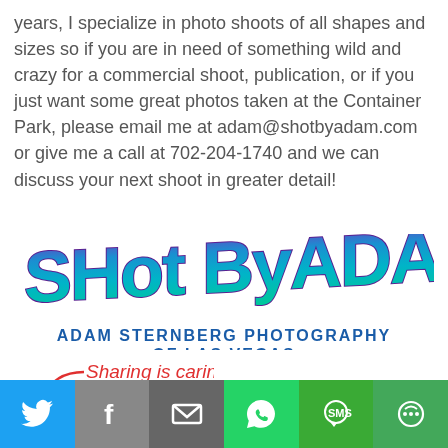years, I specialize in photo shoots of all shapes and sizes so if you are in need of something wild and crazy for a commercial shoot, publication, or if you just want some great photos taken at the Container Park, please email me at adam@shotbyadam.com or give me a call at 702-204-1740 and we can discuss your next shoot in greater detail!
[Figure (logo): ShotByAdam.com graffiti-style logo in blue/teal/green gradient, with 'Adam Sternberg Photography of Las Vegas' and 'For Booking Call 702-204-1740' text below]
[Figure (infographic): Sharing is caring! text with red arrow pointing to social share icons (Facebook, Twitter, LinkedIn, Google+, Share) and a bottom share bar with Twitter, Facebook, Email, WhatsApp, SMS, More buttons]